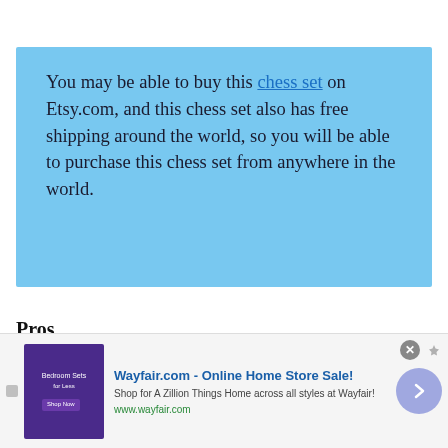You may be able to buy this chess set on Etsy.com, and this chess set also has free shipping around the world, so you will be able to purchase this chess set from anywhere in the world.
Pros
[Figure (screenshot): Advertisement banner for Wayfair.com - Online Home Store Sale! showing a bedroom furniture image, tagline 'Shop for A Zillion Things Home across all styles at Wayfair!' and URL www.wayfair.com]